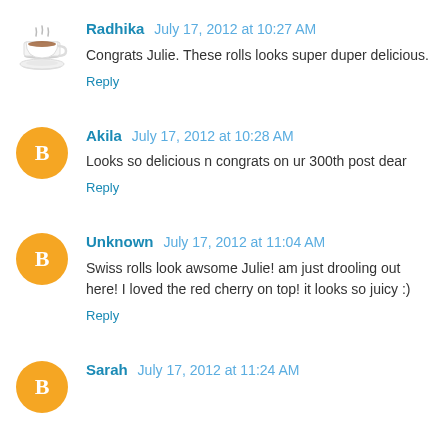Radhika July 17, 2012 at 10:27 AM
Congrats Julie. These rolls looks super duper delicious.
Reply
Akila July 17, 2012 at 10:28 AM
Looks so delicious n congrats on ur 300th post dear
Reply
Unknown July 17, 2012 at 11:04 AM
Swiss rolls look awsome Julie! am just drooling out here! I loved the red cherry on top! it looks so juicy :)
Reply
Sarah July 17, 2012 at 11:24 AM